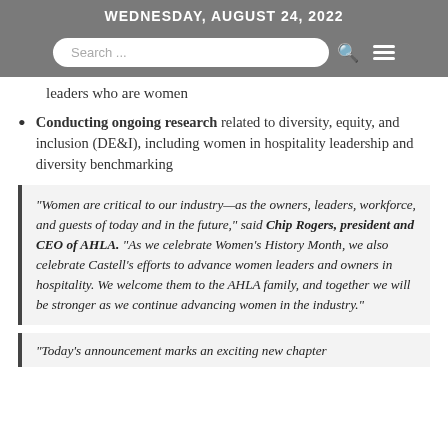WEDNESDAY, AUGUST 24, 2022
leaders who are women
Conducting ongoing research related to diversity, equity, and inclusion (DE&I), including women in hospitality leadership and diversity benchmarking
“Women are critical to our industry—as the owners, leaders, workforce, and guests of today and in the future,” said Chip Rogers, president and CEO of AHLA. “As we celebrate Women’s History Month, we also celebrate Castell’s efforts to advance women leaders and owners in hospitality. We welcome them to the AHLA family, and together we will be stronger as we continue advancing women in the industry.”
“Today’s announcement marks an exciting new chapter